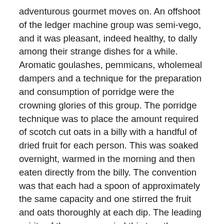adventurous gourmet moves on. An offshoot of the ledger machine group was semi-vego, and it was pleasant, indeed healthy, to dally among their strange dishes for a while. Aromatic goulashes, pemmicans, wholemeal dampers and a technique for the preparation and consumption of porridge were the crowning glories of this group. The porridge technique was to place the amount required of scotch cut oats in a billy with a handful of dried fruit for each person. This was soaked overnight, warmed in the morning and then eaten directly from the billy. The convention was that each had a spoon of approximately the same capacity and one stirred the fruit and oats thoroughly at each dip. The leading spirits of the group carried this togetherness to its logical conclusion and cooked and ate every course from the same billy. One could thus enjoy tomato custard and appled coffee. It is a long while since I had appled coffee.
The mobile meals of this group were particularly good. One such meal was taken standing in a crowded swaying